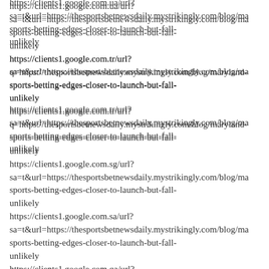https://clients1.google.com.ua/url?
sa=t&url=https://thesportsbetnewsdaily.mystrikingly.com/blog/ma
sports-betting-edges-closer-to-launch-but-fall-
unlikely
https://clients1.google.com.tr/url?
sa=t&url=https://thesportsbetnewsdaily.mystrikingly.com/blog/ma
sports-betting-edges-closer-to-launch-but-fall-
unlikely
https://clients1.google.com.tr/url?
q=https://thesportsbetnewsdaily.mystrikingly.com/blog/maryland-
sports-betting-edges-closer-to-launch-but-fall-
unlikely
https://clients1.google.com.sg/url?
sa=t&url=https://thesportsbetnewsdaily.mystrikingly.com/blog/ma
sports-betting-edges-closer-to-launch-but-fall-
unlikely
https://clients1.google.com.sa/url?
sa=t&url=https://thesportsbetnewsdaily.mystrikingly.com/blog/ma
sports-betting-edges-closer-to-launch-but-fall-
unlikely
https://clients1.google.com.qa/url?
sa=t&url=https://thesportsbetnewsdaily.mystrikingly.com/blog/ma